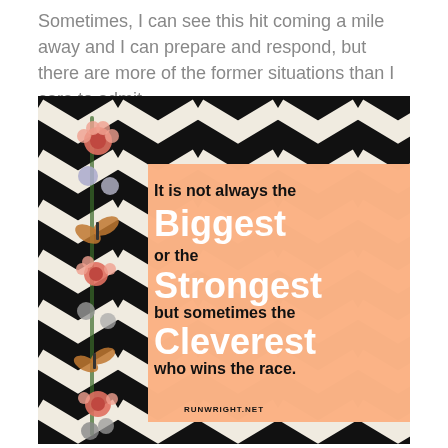Sometimes, I can see this hit coming a mile away and I can prepare and respond, but there are more of the former situations than I care to admit.
[Figure (illustration): A motivational quote image with a black and white chevron zigzag background. On the left side runs a vertical collage of floral and butterfly decorative elements. Over a peach/salmon colored overlay box on the right side is the quote text: 'It is not always the Biggest or the Strongest but sometimes the Cleverest who wins the race.' with RUNWRIGHT.NET at the bottom.]